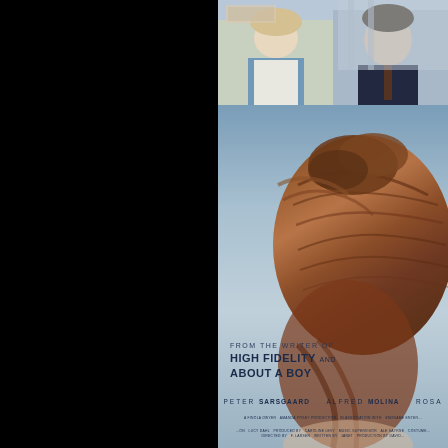[Figure (photo): Movie poster. Left half is black. Right half shows a film poster: top section has a still from the movie showing a woman and a man in formal attire; main section shows a close-up top-down view of a person's brown upswept hair against a light blue background. Text reads 'FROM THE WRITER OF HIGH FIDELITY AND ABOUT A BOY'. Cast credits: PETER SARSGAARD, ALFRED MOLINA, ROSA[MUND PIKE - cut off]. Production credits in small text at bottom.]